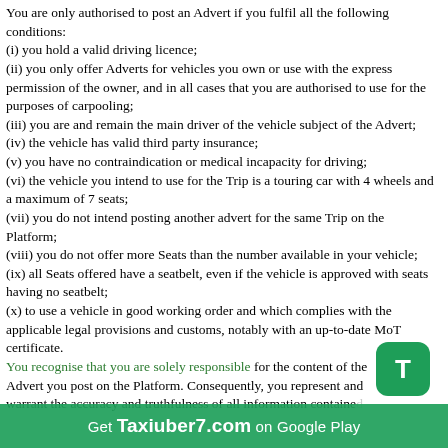You are only authorised to post an Advert if you fulfil all the following conditions:
(i) you hold a valid driving licence;
(ii) you only offer Adverts for vehicles you own or use with the express permission of the owner, and in all cases that you are authorised to use for the purposes of carpooling;
(iii) you are and remain the main driver of the vehicle subject of the Advert;
(iv) the vehicle has valid third party insurance;
(v) you have no contraindication or medical incapacity for driving;
(vi) the vehicle you intend to use for the Trip is a touring car with 4 wheels and a maximum of 7 seats;
(vii) you do not intend posting another advert for the same Trip on the Platform;
(viii) you do not offer more Seats than the number available in your vehicle;
(ix) all Seats offered have a seatbelt, even if the vehicle is approved with seats having no seatbelt;
(x) to use a vehicle in good working order and which complies with the applicable legal provisions and customs, notably with an up-to-date MoT certificate.
You recognise that you are solely responsible for the content of the Advert you post on the Platform. Consequently, you represent and warrant the accuracy and truthfulness of all information contained